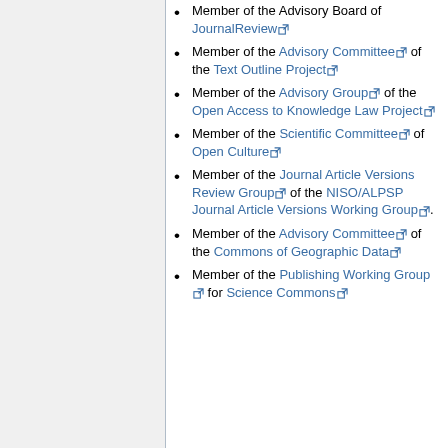Member of the Advisory Board of JournalReview
Member of the Advisory Committee of the Text Outline Project
Member of the Advisory Group of the Open Access to Knowledge Law Project
Member of the Scientific Committee of Open Culture
Member of the Journal Article Versions Review Group of the NISO/ALPSP Journal Article Versions Working Group.
Member of the Advisory Committee of the Commons of Geographic Data
Member of the Publishing Working Group for Science Commons